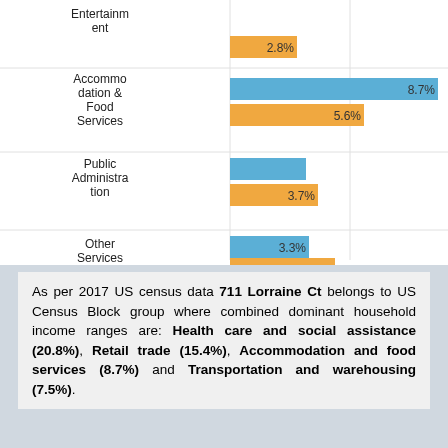[Figure (grouped-bar-chart): Industry employment shares]
As per 2017 US census data 711 Lorraine Ct belongs to US Census Block group where combined dominant household income ranges are: Health care and social assistance (20.8%), Retail trade (15.4%), Accommodation and food services (8.7%) and Transportation and warehousing (7.5%).